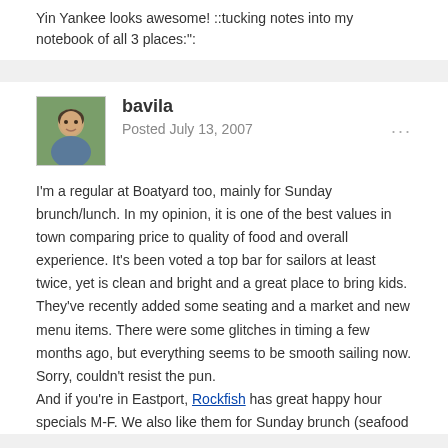Yin Yankee looks awesome! ::tucking notes into my notebook of all 3 places:":
bavila
Posted July 13, 2007

I'm a regular at Boatyard too, mainly for Sunday brunch/lunch. In my opinion, it is one of the best values in town comparing price to quality of food and overall experience. It's been voted a top bar for sailors at least twice, yet is clean and bright and a great place to bring kids. They've recently added some seating and a market and new menu items. There were some glitches in timing a few months ago, but everything seems to be smooth sailing now. Sorry, couldn't resist the pun.
And if you're in Eastport, Rockfish has great happy hour specials M-F. We also like them for Sunday brunch (seafood cobb salad my fave -- ask for it if it's not on the brunch menu). There's a jazz ensemble who plays then, but it's definitely pricier than Boatyard.